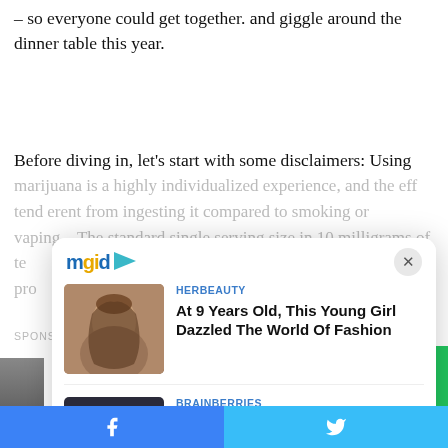– so everyone could get together. and giggle around the dinner table this year.
Before diving in, let's start with some disclaimers: Using marijuana is a highly individualized experience, and the eff tend [different from ingesting it compared to smoking or vaping... The standard single serving size in 10 milligrams of te at pro
[Figure (screenshot): MGID sponsored content widget / modal overlay with close button (X), showing two ad cards: 1) HERBEAUTY – 'At 9 Years Old, This Young Girl Dazzled The World Of Fashion' with a photo of a young woman; 2) BRAINBERRIES – 'If You Want To Avoid Having A Big Cat, Skip These Breeds' with a photo of a cat in a round bed. Below the modal is a 'SPONSORED CONTENT' label and MGID logo. Green button partially visible on right edge.]
Facebook share button | Twitter share button